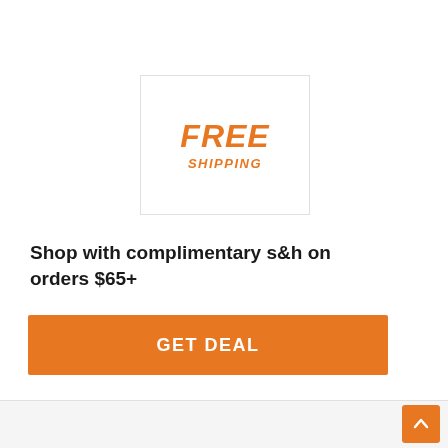[Figure (other): FREE SHIPPING promotional banner box with orange bold italic text 'FREE' and 'SHIPPING' inside a white bordered square]
Shop with complimentary s&h on orders $65+
GET DEAL